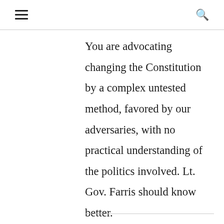≡  🔍
You are advocating changing the Constitution by a complex untested method, favored by our adversaries, with no practical understanding of the politics involved. Lt. Gov. Farris should know better.